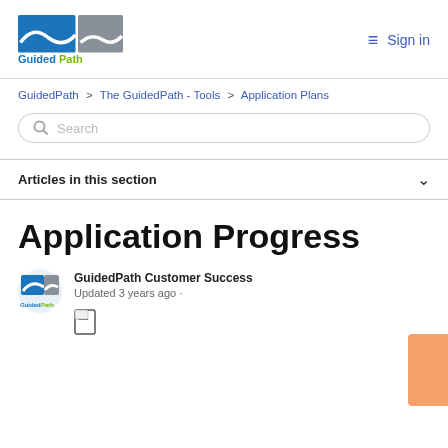GuidedPath — Sign in
GuidedPath > The GuidedPath - Tools > Application Plans
Search
Articles in this section
Application Progress
GuidedPath Customer Success
Updated 3 years ago ·